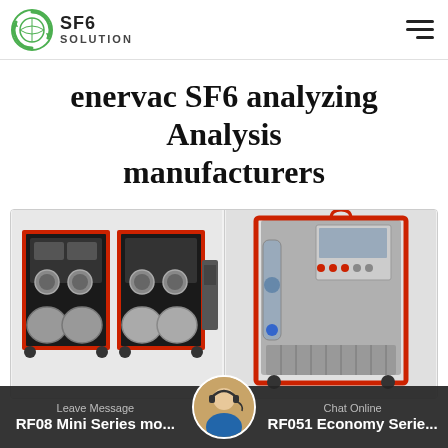[Figure (logo): SF6 Solution logo with green globe icon and text SF6 SOLUTION]
enervac SF6 analyzing Analysis manufacturers
[Figure (photo): Red-framed modular SF6 gas handling unit with compressors and gauges on wheels (RF08 Mini Series)]
[Figure (photo): Red-framed large SF6 gas recovery and recycling cabinet unit with display panel and hose (RF051 Economy Series)]
Leave Message   RF08 Mini Series mo...   Chat Online   RF051 Economy Serie...